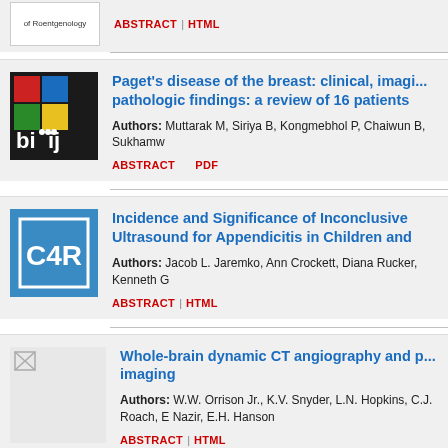[Figure (logo): Partial journal logo for American Journal of Roentgenology]
ABSTRACT | HTML
[Figure (logo): British Imaging and Interventional Journal (biij) logo - black background with colored squares and biij text]
Paget's disease of the breast: clinical, imaging and pathologic findings: a review of 16 patients
Authors: Muttarak M, Siriya B, Kongmebhol P, Chaiwun B, Sukhamw
ABSTRACT   PDF
[Figure (logo): C4R journal logo - blue square with C4R letters in white]
Incidence and Significance of Inconclusive Ultrasound for Appendicitis in Children and
Authors: Jacob L. Jaremko, Ann Crockett, Diana Rucker, Kenneth G
ABSTRACT | HTML
[Figure (photo): Broken image placeholder icon]
Whole-brain dynamic CT angiography and perfusion imaging
Authors: W.W. Orrison Jr., K.V. Snyder, L.N. Hopkins, C.J. Roach, E Nazir, E.H. Hanson
ABSTRACT | HTML